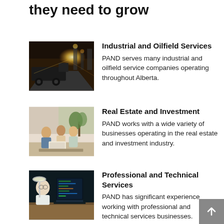they need to grow
[Figure (photo): Industrial tanker truck on highway with refinery and bright sunlight in background]
Industrial and Oilfield Services
PAND serves many industrial and oilfield service companies operating throughout Alberta.
[Figure (photo): Group of business people reviewing documents in a bright modern office setting]
Real Estate and Investment
PAND works with a wide variety of businesses operating in the real estate and investment industry.
[Figure (photo): Professional working at a computer in a dimly lit office at night]
Professional and Technical Services
PAND has significant experience working with professional and technical services businesses.